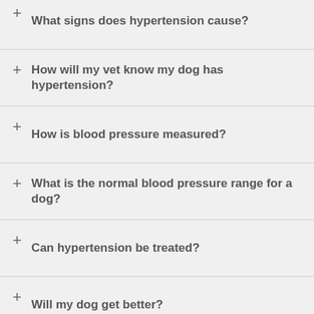+ What signs does hypertension cause?
+ How will my vet know my dog has hypertension?
+ How is blood pressure measured?
+ What is the normal blood pressure range for a dog?
+ Can hypertension be treated?
+ Will my dog get better?
This site uses cookies: Find out more. Okay, thanks